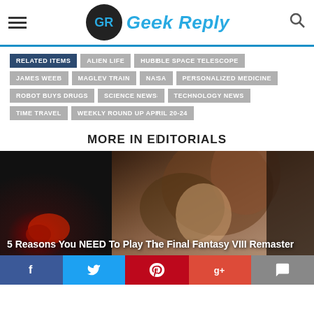Geek Reply
RELATED ITEMS
ALIEN LIFE
HUBBLE SPACE TELESCOPE
JAMES WEEB
MAGLEV TRAIN
NASA
PERSONALIZED MEDICINE
ROBOT BUYS DRUGS
SCIENCE NEWS
TECHNOLOGY NEWS
TIME TRAVEL
WEEKLY ROUND UP APRIL 20-24
MORE IN EDITORIALS
[Figure (photo): Dark background image of a Final Fantasy VIII character with brown hair, with a red object on the left side]
5 Reasons You NEED To Play The Final Fantasy VIII Remaster
Social share bar: Facebook, Twitter, Pinterest, Google+, Comments